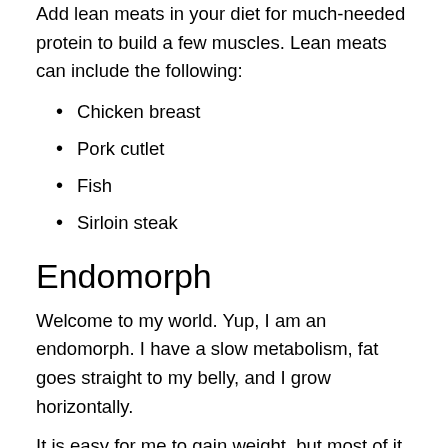Add lean meats in your diet for much-needed protein to build a few muscles. Lean meats can include the following:
Chicken breast
Pork cutlet
Fish
Sirloin steak
Endomorph
Welcome to my world. Yup, I am an endomorph. I have a slow metabolism, fat goes straight to my belly, and I grow horizontally.
It is easy for me to gain weight, but most of it